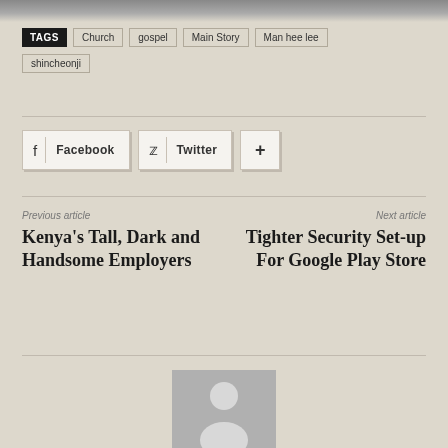TAGS  Church  gospel  Main Story  Man hee lee  shincheonji
f Facebook  Twitter  +
Previous article
Kenya's Tall, Dark and Handsome Employers
Next article
Tighter Security Set-up For Google Play Store
[Figure (photo): Generic user avatar placeholder image showing silhouette of a person (circle head and oval body) on grey background]